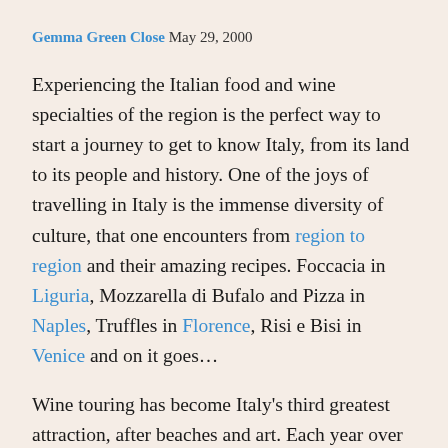Gemma Green Close May 29, 2000
Experiencing the Italian food and wine specialties of the region is the perfect way to start a journey to get to know Italy, from its land to its people and history. One of the joys of travelling in Italy is the immense diversity of culture, that one encounters from region to region and their amazing recipes. Foccacia in Liguria, Mozzarella di Bufalo and Pizza in Naples, Truffles in Florence, Risi e Bisi in Venice and on it goes…
Wine touring has become Italy's third greatest attraction, after beaches and art. Each year over 3 million tourists travel through the vineyards, to